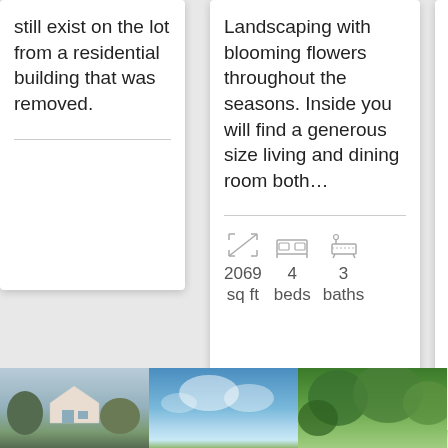still exist on the lot from a residential building that was removed.
Landscaping with blooming flowers throughout the seasons. Inside you will find a generous size living and dining room both…
on about 1/2 acre lot with mature trees and features a…
2069 sq ft  4 beds  3 baths
2054 sq ft  3 beds  ba
[Figure (photo): House exterior thumbnail]
[Figure (photo): Sky and foliage thumbnail]
[Figure (photo): Trees thumbnail]